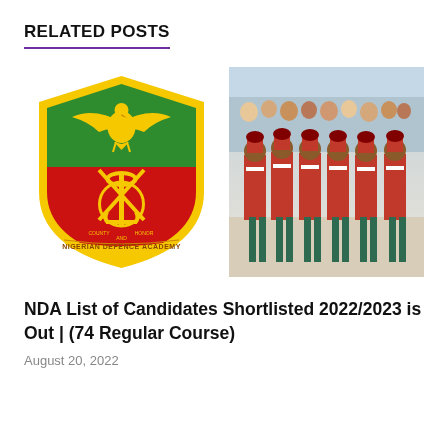RELATED POSTS
[Figure (logo): Nigerian Defence Academy crest/shield logo with eagle, anchor, swords, green and red heraldic shield, and banner reading NIGERIAN DEFENCE ACADEMY]
[Figure (photo): Photo of Nigerian Defence Academy cadets in red dress uniforms with white cross-belts and dark green trousers marching in formation, with a crowd in the background]
NDA List of Candidates Shortlisted 2022/2023 is Out | (74 Regular Course)
August 20, 2022